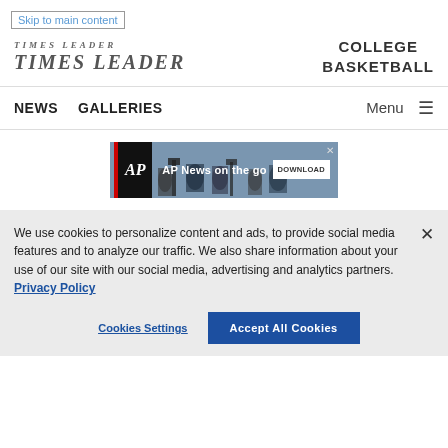Skip to main content
[Figure (logo): Times Leader newspaper logo]
COLLEGE BASKETBALL
NEWS   GALLERIES   Menu
[Figure (screenshot): AP News on the go advertisement banner with Download button]
We use cookies to personalize content and ads, to provide social media features and to analyze our traffic. We also share information about your use of our site with our social media, advertising and analytics partners. Privacy Policy
Cookies Settings   Accept All Cookies